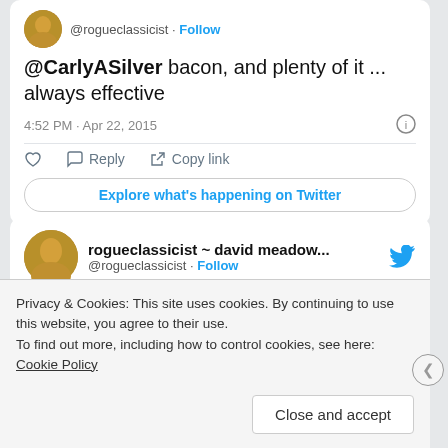@rogueclassicist · Follow
@CarlyASilver bacon, and plenty of it ... always effective
4:52 PM · Apr 22, 2015
Reply   Copy link
Explore what's happening on Twitter
rogueclassicist ~ david meadow... @rogueclassicist · Follow
Privacy & Cookies: This site uses cookies. By continuing to use this website, you agree to their use.
To find out more, including how to control cookies, see here: Cookie Policy
Close and accept